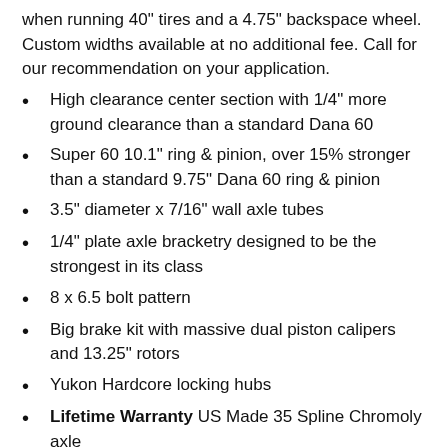when running 40" tires and a 4.75" backspace wheel. Custom widths available at no additional fee. Call for our recommendation on your application.
High clearance center section with 1/4" more ground clearance than a standard Dana 60
Super 60 10.1" ring & pinion, over 15% stronger than a standard 9.75" Dana 60 ring & pinion
3.5" diameter x 7/16" wall axle tubes
1/4" plate axle bracketry designed to be the strongest in its class
8 x 6.5 bolt pattern
Big brake kit with massive dual piston calipers and 13.25" rotors
Yukon Hardcore locking hubs
Lifetime Warranty US Made 35 Spline Chromoly axle